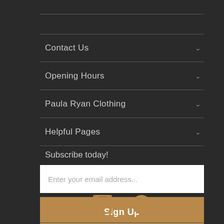Contact Us
Opening Hours
Paula Ryan Clothing
Helpful Pages
Subscribe today!
Enter your email address...
Sign Up
[Figure (other): Instagram and Facebook social media icons]